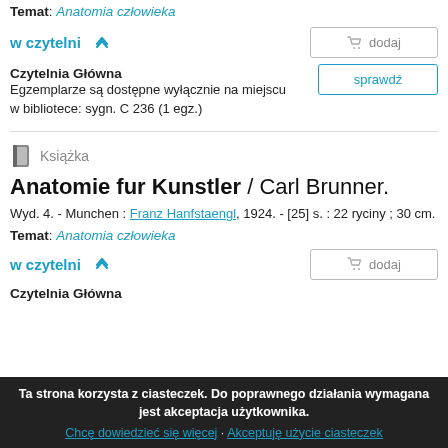Temat: Anatomia człowieka
w czytelni ▲
dodaj
Czytelnia Główna
Egzemplarze są dostępne wyłącznie na miejscu w bibliotece: sygn. C 236 (1 egz.)
sprawdź
Książka
Anatomie fur Kunstler / Carl Brunner.
Wyd. 4. - Munchen : Franz Hanfstaengl, 1924. - [25] s. : 22 ryciny ; 30 cm.
Temat: Anatomia człowieka
w czytelni ▲
dodaj
Czytelnia Główna
Ta strona korzysta z ciasteczek. Do poprawnego działania wymagana jest akceptacja użytkownika. Chcę dowiedzieć się więcej · Akceptuję użycie ciasteczek